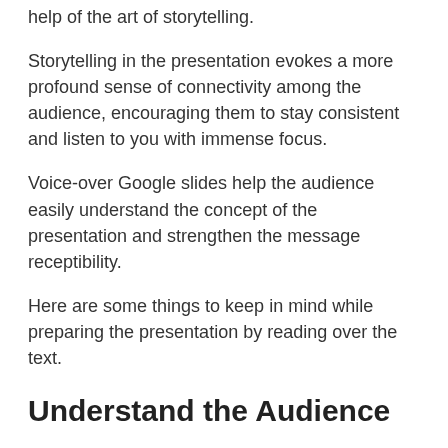help of the art of storytelling.
Storytelling in the presentation evokes a more profound sense of connectivity among the audience, encouraging them to stay consistent and listen to you with immense focus.
Voice-over Google slides help the audience easily understand the concept of the presentation and strengthen the message receptibility.
Here are some things to keep in mind while preparing the presentation by reading over the text.
Understand the Audience
The audience is the first thing to keep in mind while preparing the presentation with text to speech.
However, you about the audience can affect the result to